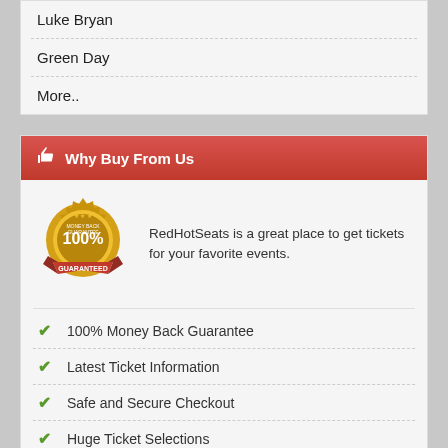Luke Bryan
Green Day
More..
Why Buy From Us
[Figure (illustration): 100% Money Back Guarantee gold badge with red ribbon]
RedHotSeats is a great place to get tickets for your favorite events.
100% Money Back Guarantee
Latest Ticket Information
Safe and Secure Checkout
Huge Ticket Selections
Live Customer Support
Last Minute Tickets